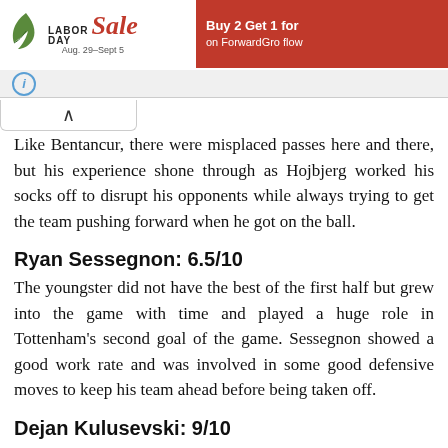[Figure (other): Advertisement banner: Labor Day Sale Aug. 29–Sept 5, Buy 2 Get 1 for on ForwardGro flow]
Like Bentancur, there were misplaced passes here and there, but his experience shone through as Hojbjerg worked his socks off to disrupt his opponents while always trying to get the team pushing forward when he got on the ball.
Ryan Sessegnon: 6.5/10
The youngster did not have the best of the first half but grew into the game with time and played a huge role in Tottenham's second goal of the game. Sessegnon showed a good work rate and was involved in some good defensive moves to keep his team ahead before being taken off.
Dejan Kulusevski: 9/10
Making his first start for Tottenham, Kulusevski was off to